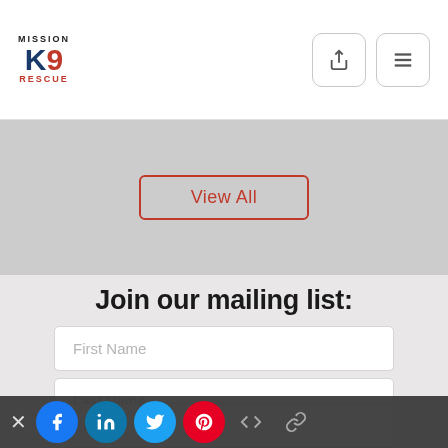[Figure (logo): Mission K9 Rescue logo with red and blue text]
View All
Join our mailing list:
First Name
Last Name
Email
Social share bar: Facebook, LinkedIn, Twitter, Pinterest, embed, link